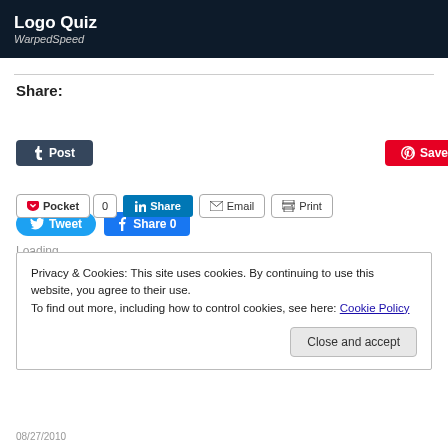[Figure (screenshot): Header banner with dark background showing 'Logo Quiz' title and 'WarpedSpeed' subtitle in italic, with circular logo image on right]
Share:
[Figure (screenshot): Social sharing buttons: Tweet (Twitter blue), Share 0 (Facebook blue), Post (Tumblr dark), Save (Pinterest red), Pocket, 0 count, Share (LinkedIn blue), Email, Print]
Loading
Privacy & Cookies: This site uses cookies. By continuing to use this website, you agree to their use.
To find out more, including how to control cookies, see here: Cookie Policy
Close and accept
08/27/2010